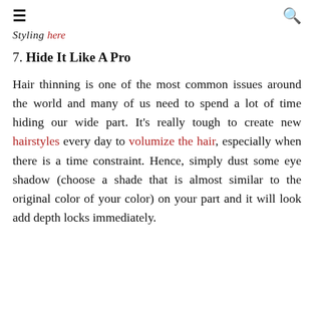≡  🔍
Styling here
7. Hide It Like A Pro
Hair thinning is one of the most common issues around the world and many of us need to spend a lot of time hiding our wide part. It's really tough to create new hairstyles every day to volumize the hair, especially when there is a time constraint. Hence, simply dust some eye shadow (choose a shade that is almost similar to the original color of your color) on your part and it will look add depth locks immediately.